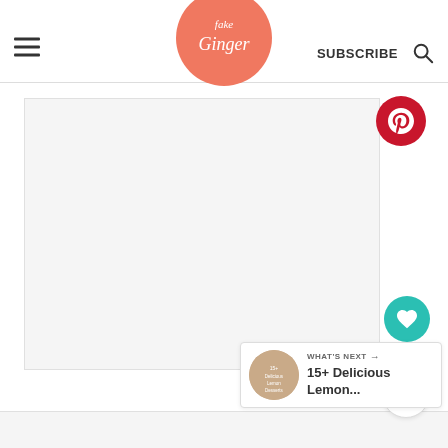[Figure (logo): Fake Ginger blog logo — cursive white text on a coral/salmon circle]
SUBSCRIBE
[Figure (other): Main content image area (white/light gray placeholder)]
[Figure (other): Pinterest share button — red circle with white P icon]
[Figure (other): Heart/like button — teal circle with white heart icon, count 131]
131
[Figure (other): Share button — white circle with share icon]
WHAT'S NEXT → 15+ Delicious Lemon...